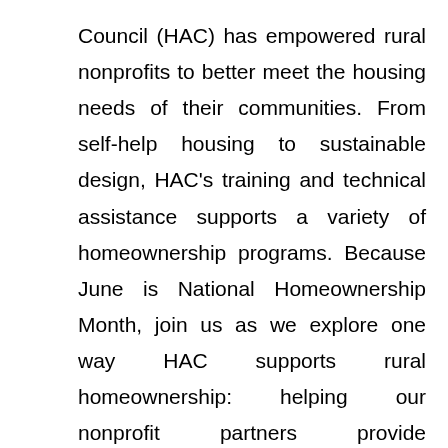Council (HAC) has empowered rural nonprofits to better meet the housing needs of their communities. From self-help housing to sustainable design, HAC's training and technical assistance supports a variety of homeownership programs. Because June is National Homeownership Month, join us as we explore one way HAC supports rural homeownership: helping our nonprofit partners provide homebuyer education.

For many families, navigating the homebuying process can be a challenge. Homebuyer education prepares buyers by helping them understand the homebuying process, building their financial skills like budgeting, and teaching how to maintain their new home. In addition, many first-time homebuyer